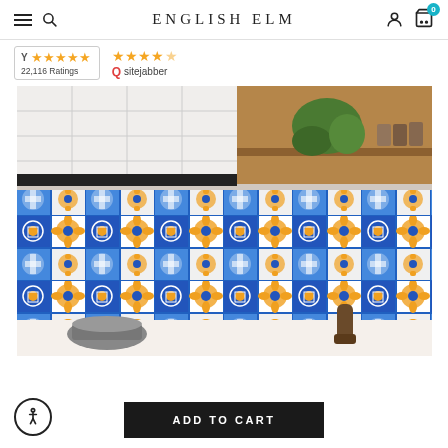English Elm navigation bar with hamburger menu, search, logo, account, and cart (0)
[Figure (infographic): YotPo 5-star rating badge showing 22,116 Ratings]
[Figure (infographic): Sitejabber 4.5-star rating badge]
[Figure (photo): Kitchen backsplash with blue, white, and orange/yellow patterned decorative tiles, wood shelving, plant, spice jars, cookware]
ADD TO CART